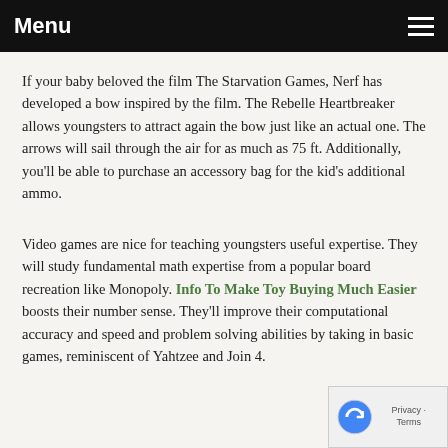Menu
If your baby beloved the film The Starvation Games, Nerf has developed a bow inspired by the film. The Rebelle Heartbreaker allows youngsters to attract again the bow just like an actual one. The arrows will sail through the air for as much as 75 ft. Additionally, you'll be able to purchase an accessory bag for the kid's additional ammo.
Video games are nice for teaching youngsters useful expertise. They will study fundamental math expertise from a popular board recreation like Monopoly. Info To Make Toy Buying Much Easier boosts their number sense. They'll improve their computational accuracy and speed and problem solving abilities by taking in basic games, reminiscent of Yahtzee and Join 4.